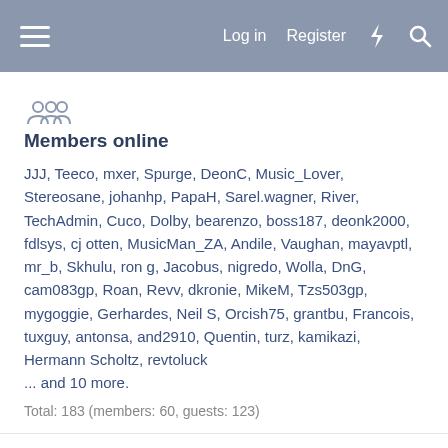Log in  Register
Members online
JJJ, Teeco, mxer, Spurge, DeonC, Music_Lover, Stereosane, johanhp, PapaH, Sarel.wagner, River, TechAdmin, Cuco, Dolby, bearenzo, boss187, deonk2000, fdlsys, cj otten, MusicMan_ZA, Andile, Vaughan, mayavptl, mr_b, Skhulu, ron g, Jacobus, nigredo, Wolla, DnG, cam083gp, Roan, Revv, dkronie, MikeM, Tzs503gp, mygoggie, Gerhardes, Neil S, Orcish75, grantbu, Francois, tuxguy, antonsa, and2910, Quentin, turz, kamikazi, Hermann Scholtz, revtoluck ... and 10 more.
Total: 183 (members: 60, guests: 123)
Forum statistics
|  |  |
| --- | --- |
| Threads: | 98,144 |
| Messages: | 1,095,780 |